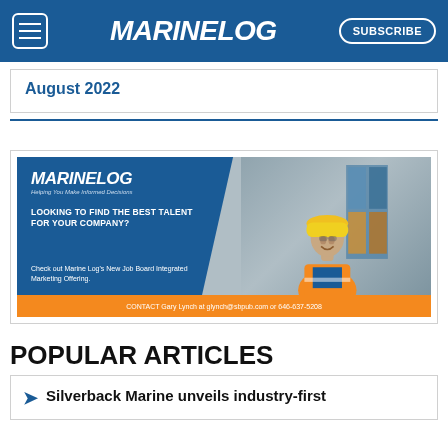MARINELOG | SUBSCRIBE
August 2022
[Figure (illustration): Marine Log advertisement banner featuring a smiling male worker in orange safety vest and yellow hard hat, with shipping containers in background. Blue diagonal background with Marine Log logo, text: LOOKING TO FIND THE BEST TALENT FOR YOUR COMPANY? Check out Marine Log's New Job Board Integrated Marketing Offering. Orange bar at bottom: CONTACT Gary Lynch at glynch@sbpub.com or 646-637-5208]
POPULAR ARTICLES
Silverback Marine unveils industry-first